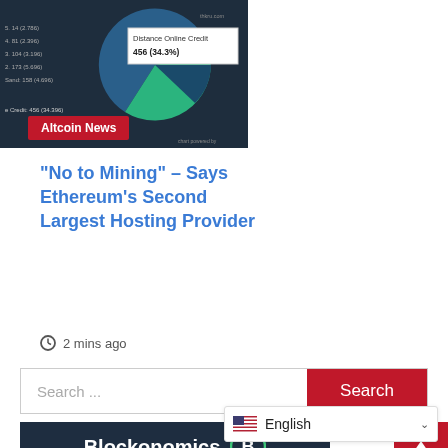[Figure (screenshot): Dark-themed pie/donut chart screenshot showing cryptocurrency market share with tooltip 'Distance Online Credit: 456 (34.3%)' and 'Altcoin News' red badge label in the lower left corner.]
“No to Mining” – Says Ethereum’s Second Largest Hosting Provider
2 mins ago
Search ...
Search
[Figure (logo): Blockonomics logo on dark navy background with white bold text and green/white circular B icon]
English